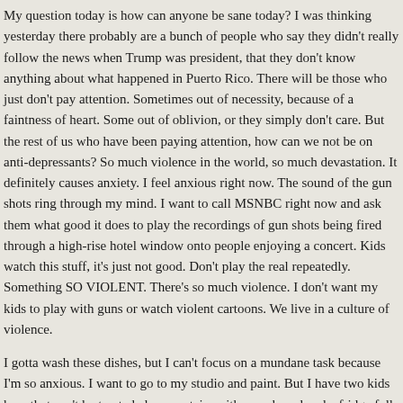My question today is how can anyone be sane today? I was thinking yesterday there probably are a bunch of people who say they didn't really follow the news when Trump was president, that they don't know anything about what happened in Puerto Rico. There will be those who just don't pay attention. Sometimes out of necessity, because of a faintness of heart. Some out of oblivion, or they simply don't care. But the rest of us who have been paying attention, how can we not be on anti-depressants? So much violence in the world, so much devastation. It definitely causes anxiety. I feel anxious right now. The sound of the gun shots ring through my mind. I want to call MSNBC right now and ask them what good it does to play the recordings of gun shots being fired through a high-rise hotel window onto people enjoying a concert. Kids watch this stuff, it's just not good. Don't play the real repeatedly. Something SO VIOLENT. There's so much violence. I don't want my kids to play with guns or watch violent cartoons. We live in a culture of violence.
I gotta wash these dishes, but I can't focus on a mundane task because I'm so anxious. I want to go to my studio and paint. But I have two kids here that can't be trusted alone upstairs with a cupboard and a fridge full of fresh groceries! They are watching Peppa Pig right now, maybe I could sneak down and draw for 10 minutes?